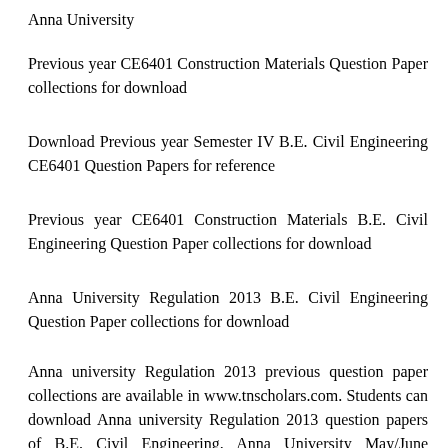Anna University
Previous year CE6401 Construction Materials Question Paper collections for download
Download Previous year Semester IV B.E. Civil Engineering CE6401 Question Papers for reference
Previous year CE6401 Construction Materials B.E. Civil Engineering Question Paper collections for download
Anna University Regulation 2013 B.E. Civil Engineering Question Paper collections for download
Anna university Regulation 2013 previous question paper collections are available in www.tnscholars.com. Students can download Anna university Regulation 2013 question papers of B.E. Civil Engineering. Anna University May/June Question